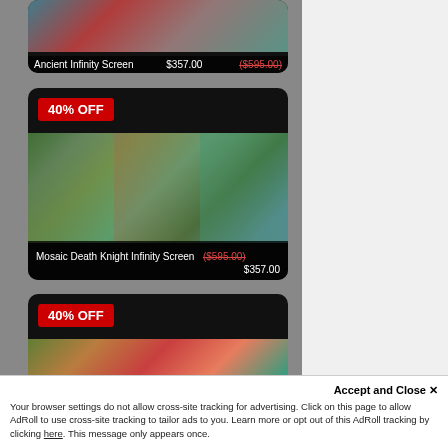[Figure (screenshot): Product card for Ancient Infinity Screen showing colorful artwork, sale price $357.00 and original price ($595.00) struck through]
[Figure (screenshot): Product card for Mosaic Death Knight Infinity Screen with 40% OFF badge, fantasy artwork, original price ($595.00) struck through, sale price $357.00]
[Figure (screenshot): Product card with 40% OFF badge and dragon/fantasy artwork, partially visible]
Accept and Close ✕
Your browser settings do not allow cross-site tracking for advertising. Click on this page to allow AdRoll to use cross-site tracking to tailor ads to you. Learn more or opt out of this AdRoll tracking by clicking here. This message only appears once.